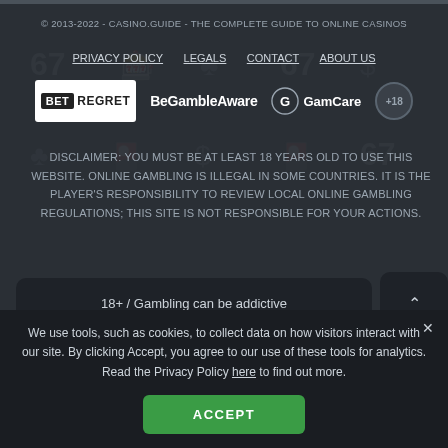© 2013-2022 - CASINO.GUIDE - THE COMPLETE GUIDE TO ONLINE CASINOS
PRIVACY POLICY   LEGALS   CONTACT   ABOUT US
[Figure (logo): Row of responsible gambling logos: BetRegret, BeGambleAware, GamCare, 18+ badge]
DISCLAIMER: YOU MUST BE AT LEAST 18 YEARS OLD TO USE THIS WEBSITE. ONLINE GAMBLING IS ILLEGAL IN SOME COUNTRIES. IT IS THE PLAYER'S RESPONSIBILITY TO REVIEW LOCAL ONLINE GAMBLING REGULATIONS; THIS SITE IS NOT RESPONSIBLE FOR YOUR ACTIONS.
18+ / Gambling can be addictive
We use tools, such as cookies, to collect data on how visitors interact with our site. By clicking Accept, you agree to our use of these tools for analytics. Read the Privacy Policy here to find out more.
ACCEPT